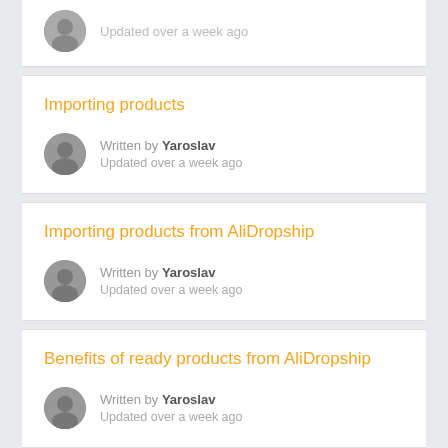Updated over a week ago
Importing products
Written by Yaroslav
Updated over a week ago
Importing products from AliDropship
Written by Yaroslav
Updated over a week ago
Benefits of ready products from AliDropship
Written by Yaroslav
Updated over a week ago